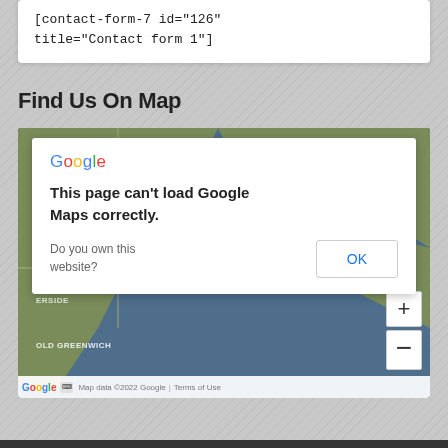[contact-form-7 id="126"
title="Contact form 1"]
Find Us On Map
[Figure (screenshot): Google Maps embed showing an error dialog: 'This page can't load Google Maps correctly.' with an OK button. Map background shows coastal area with OLD GREENWICH and ERSIDE labels. Map data ©2022 Google.]